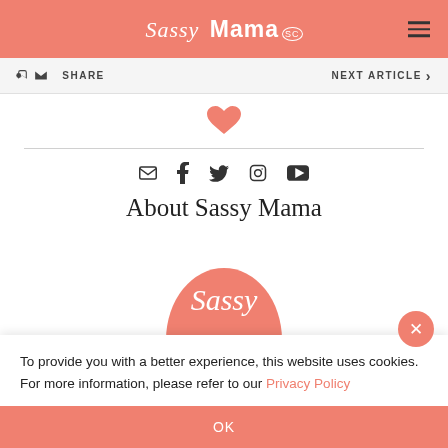Sassy Mama
SHARE   NEXT ARTICLE
[Figure (illustration): Pink heart icon]
About Sassy Mama
[Figure (logo): Sassy Mama logo - pink semicircle with 'Sassy' text in white italic script]
To provide you with a better experience, this website uses cookies. For more information, please refer to our Privacy Policy
OK